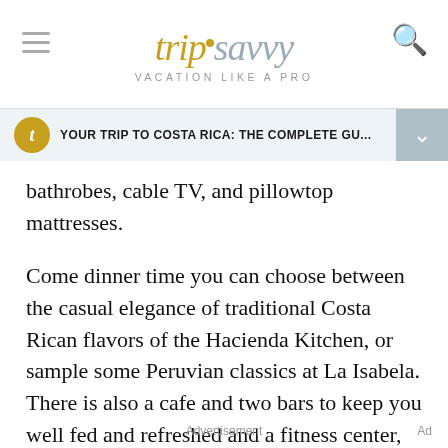tripsavvy VACATION LIKE A PRO
YOUR TRIP TO COSTA RICA: THE COMPLETE GU...
bathrobes, cable TV, and pillowtop mattresses.
Come dinner time you can choose between the casual elegance of traditional Costa Rican flavors of the Hacienda Kitchen, or sample some Peruvian classics at La Isabela. There is also a cafe and two bars to keep you well fed and refreshed and a fitness center, outdoor pool and spa in which to relax.
Advertisement   Ad